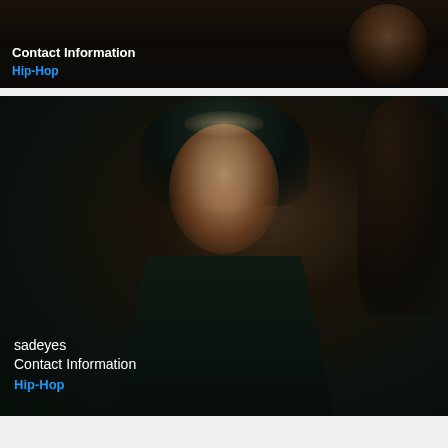[Figure (photo): Partial view of a music card showing an artist photo with 'Contact Information' title and Hip-Hop genre label (top card, partially cropped)]
Contact Information
Hip-Hop
[Figure (photo): Photo of sadeyes, a young man wearing a dark hoodie, standing against a very dark background, looking at the camera. Text overlay shows artist name 'sadeyes', album 'Contact Information', and genre 'Hip-Hop']
sadeyes
Contact Information
Hip-Hop